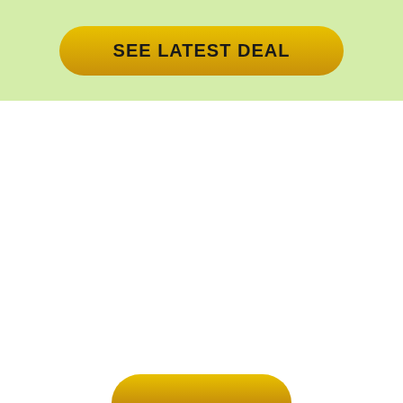[Figure (other): Light green banner background with a yellow-gold gradient rounded button labelled SEE LATEST DEAL]
SEE LATEST DEAL
6. Tommee Tippee Pip the Panda
[Figure (other): Partial yellow-gold rounded button visible at the bottom edge of the page]